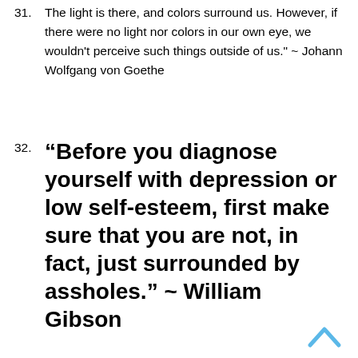31. The light is there, and colors surround us. However, if there were no light nor colors in our own eye, we wouldn't perceive such things outside of us." ~ Johann Wolfgang von Goethe
32. “Before you diagnose yourself with depression or low self-esteem, first make sure that you are not, in fact, just surrounded by assholes.” ~ William Gibson